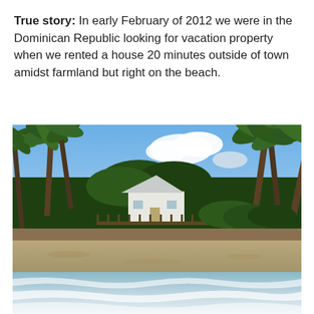True story: In early February of 2012 we were in the Dominican Republic looking for vacation property when we rented a house 20 minutes outside of town amidst farmland but right on the beach.
[Figure (photo): Photograph taken from the beach showing a white house with a peaked roof surrounded by tall palm trees and tropical vegetation, with sandy beach and ocean waves in the foreground under a partly cloudy blue sky.]